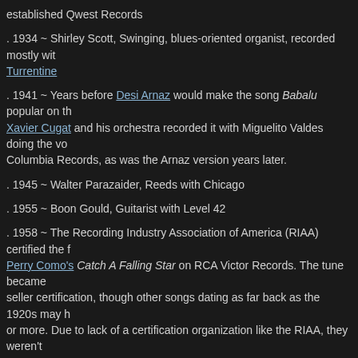established Qwest Records
. 1934 ~ Shirley Scott, Swinging, blues-oriented organist, recorded mostly with Turrentine
. 1941 ~ Years before Desi Arnaz would make the song Babalu popular on the, Xavier Cugat and his orchestra recorded it with Miguelito Valdes doing the vocals on Columbia Records, as was the Arnaz version years later.
. 1945 ~ Walter Parazaider, Reeds with Chicago
. 1955 ~ Boon Gould, Guitarist with Level 42
. 1958 ~ The Recording Industry Association of America (RIAA) certified the first Perry Como's Catch A Falling Star on RCA Victor Records. The tune became the first seller certification, though other songs dating as far back as the 1920s may have sold or more. Due to lack of a certification organization like the RIAA, they weren't certified platter. The next three gold records that were certified after Perry Como's milestone were recordings of He's Got the Whole World in His Hands by Laurie London, Patr the 'Mambo King', Perez Prado and Hard Headed Woman by Elvis Presley. The certification went to the soundtrack of the motion picture, Oklahoma!, featuring there really a gold record inside the wooden frame presented to winners? The Its a gold-leaf veneer of maybe 18 kt. gold and/or it is a record painted gold. Y award is supposed to be the one making up the gold record, but this is not al